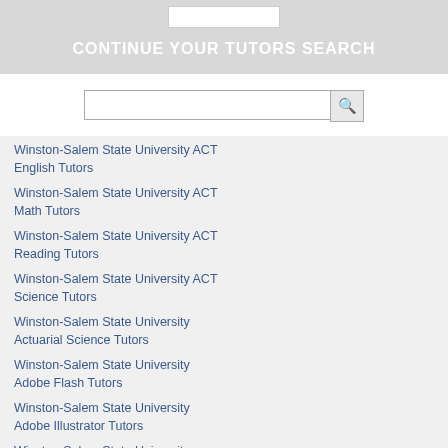CONTINUE YOUR TUTORS SEARCH
Winston-Salem State University ACT English Tutors
Winston-Salem State University ACT Math Tutors
Winston-Salem State University ACT Reading Tutors
Winston-Salem State University ACT Science Tutors
Winston-Salem State University Actuarial Science Tutors
Winston-Salem State University Adobe Flash Tutors
Winston-Salem State University Adobe Illustrator Tutors
Winston-Salem State University Adobe InDesign Tutors
Winston-Salem State University